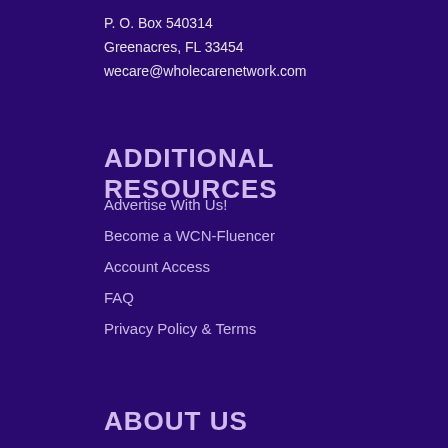P. O. Box 540314
Greenacres, FL 33454
wecare@wholecarenetwork.com
ADDITIONAL RESOURCES
Advertise With Us!
Become a WCN-Fluencer
Account Access
FAQ
Privacy Policy & Terms
ABOUT US